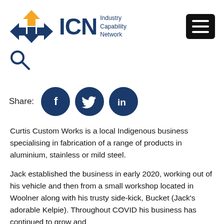[Figure (logo): ICN Industry Capability Network logo with orange and blue arrow icon, dark blue ICN text and subtitle]
[Figure (other): Black hamburger menu button with three white horizontal lines]
[Figure (other): Search magnifying glass icon in dark blue]
Share:
[Figure (infographic): Three dark navy social media share buttons: Facebook (f), Twitter (bird), LinkedIn (in)]
Curtis Custom Works is a local Indigenous business specialising in fabrication of a range of products in aluminium, stainless or mild steel.
Jack established the business in early 2020, working out of his vehicle and then from a small workshop located in Woolner along with his trusty side-kick, Bucket (Jack's adorable Kelpie). Throughout COVID his business has continued to grow and